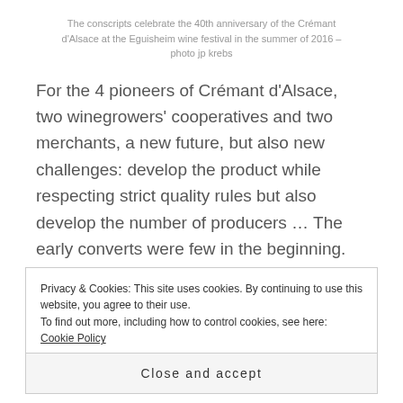The conscripts celebrate the 40th anniversary of the Crémant d'Alsace at the Eguisheim wine festival in the summer of 2016 – photo jp krebs
For the 4 pioneers of Crémant d'Alsace, two winegrowers' cooperatives and two merchants, a new future, but also new challenges: develop the product while respecting strict quality rules but also develop the number of producers … The early converts were few in the beginning. Then, step by step, the movement grew. More and more quickly.
Privacy & Cookies: This site uses cookies. By continuing to use this website, you agree to their use.
To find out more, including how to control cookies, see here: Cookie Policy
Close and accept